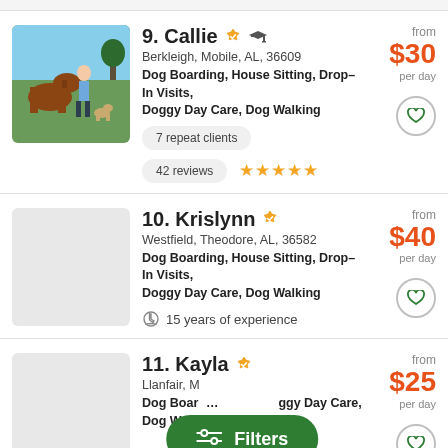[Figure (photo): Photo of Callie with horses and a dog outdoors]
9. Callie — verified badge, graduation cap badge
Berkleigh, Mobile, AL, 36609
Dog Boarding, House Sitting, Drop–In Visits, Doggy Day Care, Dog Walking
7 repeat clients
42 reviews ★★★★★
from $30 per day
[Figure (photo): Placeholder gray photo for Krislynn]
10. Krislynn — verified badge
Westfield, Theodore, AL, 36582
Dog Boarding, House Sitting, Drop–In Visits, Doggy Day Care, Dog Walking
🏆 15 years of experience
from $40 per day
[Figure (photo): Placeholder gray photo for Kayla]
11. Kayla — verified badge
Llanfair, M...
Dog Boar... ggy Day Care, Dog Walki...
from $25 per day
Filters button overlay